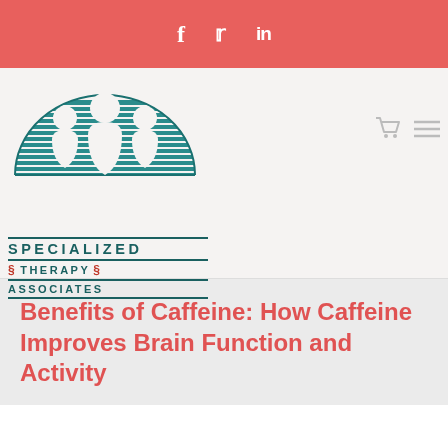f  𝕏  in
[Figure (logo): Specialized Therapy Associates logo with three figures under a semicircle with horizontal stripes, teal and dark red colors]
Benefits of Caffeine: How Caffeine Improves Brain Function and Activity